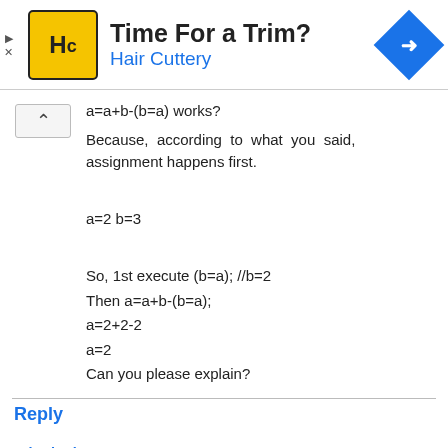[Figure (other): Advertisement banner for Hair Cuttery with yellow logo, title 'Time For a Trim?', subtitle 'Hair Cuttery', and a blue diamond navigation icon]
a=a+b-(b=a) works?
Because, according to what you said, assignment happens first.

a=2 b=3

So, 1st execute (b=a); //b=2
Then a=a+b-(b=a);
a=2+2-2
a=2
Can you please explain?
Reply
rpbarbati  June 19, 2016 at 3:26 PM